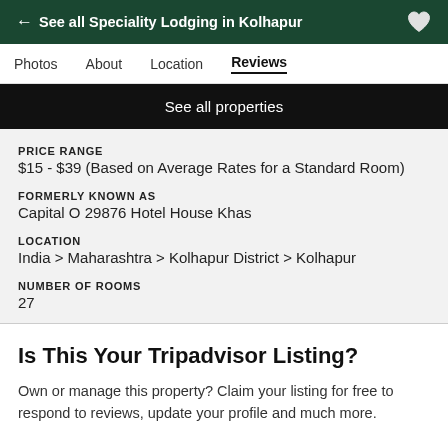← See all Speciality Lodging in Kolhapur
Photos  About  Location  Reviews
See all properties
PRICE RANGE
$15 - $39 (Based on Average Rates for a Standard Room)
FORMERLY KNOWN AS
Capital O 29876 Hotel House Khas
LOCATION
India > Maharashtra > Kolhapur District > Kolhapur
NUMBER OF ROOMS
27
Is This Your Tripadvisor Listing?
Own or manage this property? Claim your listing for free to respond to reviews, update your profile and much more.